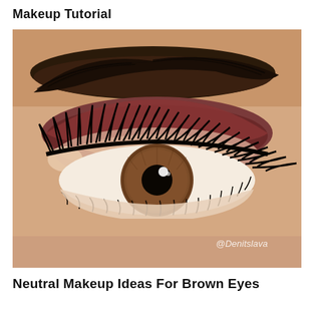Makeup Tutorial
[Figure (photo): Close-up photograph of a woman's eye with neutral brown eyeshadow makeup, dramatic false lashes, well-defined dark eyebrow, and shimmer eyeshadow on the lid. Watermark @Denitslava in the lower right corner.]
Neutral Makeup Ideas For Brown Eyes